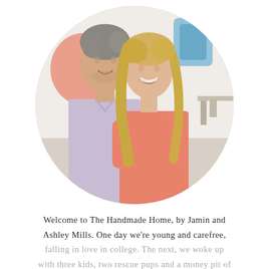[Figure (photo): A circular cropped photo of a couple, man and woman, smiling. The man has gray-streaked hair and wears a light lavender/pink button-up shirt. The woman has long blonde wavy hair and wears a coral/pink top. They are posed together in a bright, airy room with colorful artwork visible in the background.]
Welcome to The Handmade Home, by Jamin and Ashley Mills. One day we're young and carefree, falling in love in college. The next, we woke up with three kids, two rescue pups and a money pit of